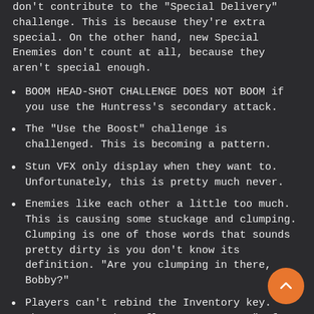don't contribute to the "Special Delivery" challenge. This is because they're extra special. On the other hand, new Special Enemies don't count at all, because they aren't special enough.
BOOM HEAD-SHOT CHALLENGE DOES NOT BOOM if you use the Huntress's secondary attack.
The "Use the Boost" challenge is challenged. This is becoming a pattern.
Stun VFX only display when they want to. Unfortunately, this is pretty much never.
Enemies like each other a little too much. This is causing some stuckage and clumping. Clumping is one of those words that sounds pretty dirty is you don't know its definition. "Are you clumping in there, Bobby?"
Players can't rebind the Inventory key. Why? Because the Influence Vote was "I for Inventory." Duh.
Some pet abilities don't have sounds. Others don't have VFX. The rest are generally awesome.